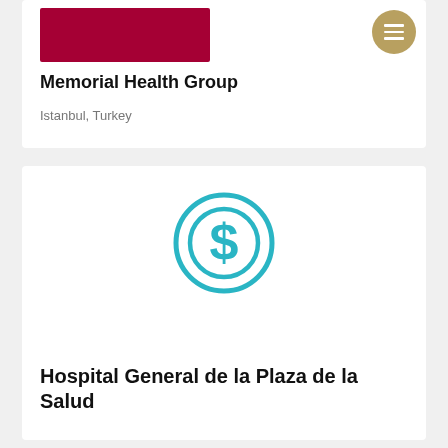[Figure (logo): Memorial Health Group dark red/crimson logo rectangle]
Memorial Health Group
Istanbul, Turkey
[Figure (logo): Hospital General de la Plaza de la Salud teal circular logo with stylized S/dollar-sign symbol]
Hospital General de la Plaza de la Salud
República Dominicana, Dominican